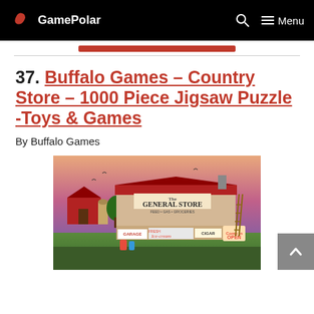GamePolar | Menu
37. Buffalo Games – Country Store – 1000 Piece Jigsaw Puzzle -Toys & Games
By Buffalo Games
[Figure (photo): Colorful illustration of a country General Store with signs for Ice-cream, Garage, Cigars, and Open. A red barn is visible in the background under a vivid sunset sky.]